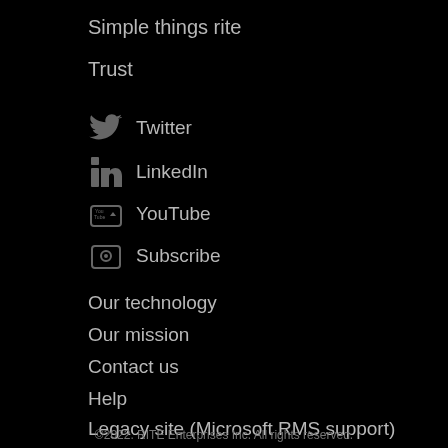Simple things rite
Trust
Twitter
LinkedIn
YouTube
Subscribe
Our technology
Our mission
Contact us
Help
Legacy site (Microsoft RMS support)
©2022. RITE Enterprises Inc. All rights reserved.